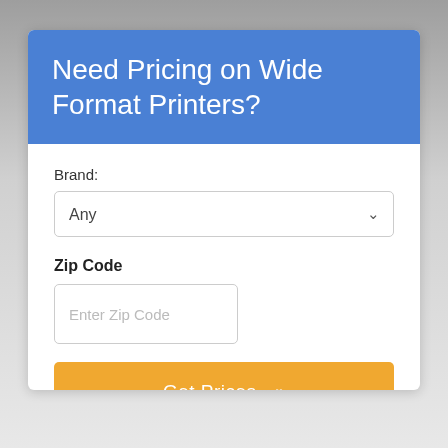Need Pricing on Wide Format Printers?
Brand:
Any
Zip Code
Enter Zip Code
Get Prices »